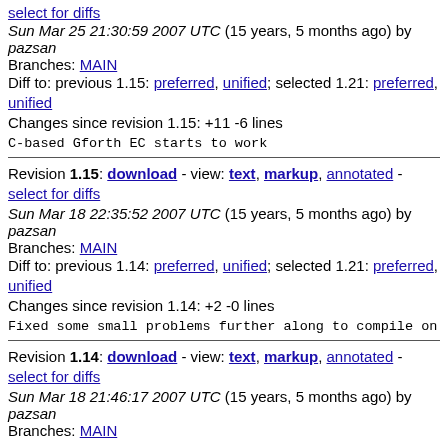select for diffs
Sun Mar 25 21:30:59 2007 UTC (15 years, 5 months ago) by pazsan
Branches: MAIN
Diff to: previous 1.15: preferred, unified; selected 1.21: preferred, unified
Changes since revision 1.15: +11 -6 lines
C-based Gforth EC starts to work
Revision 1.15: download - view: text, markup, annotated - select for diffs
Sun Mar 18 22:35:52 2007 UTC (15 years, 5 months ago) by pazsan
Branches: MAIN
Diff to: previous 1.14: preferred, unified; selected 1.21: preferred, unified
Changes since revision 1.14: +2 -0 lines
Fixed some small problems further along to compile on NXT
Revision 1.14: download - view: text, markup, annotated - select for diffs
Sun Mar 18 21:46:17 2007 UTC (15 years, 5 months ago) by pazsan
Branches: MAIN